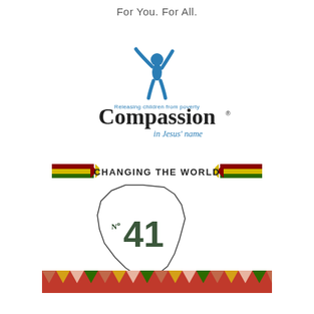For You. For All.
[Figure (logo): Compassion International logo: blue figure with arms raised, text 'Releasing children from poverty Compassion in Jesus' name']
[Figure (logo): Changing The World No 41 for one — banner with African chevron arrows, Africa continent outline with 'No 41' text and 'for one' script, decorative triangle border in African colors]